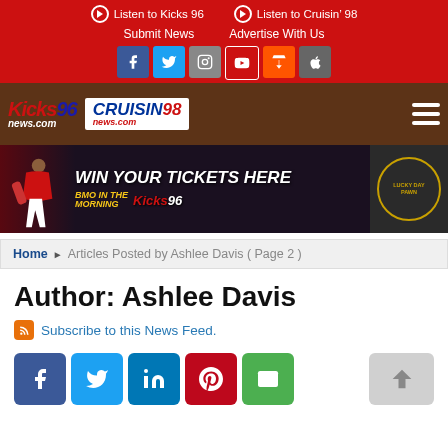Listen to Kicks 96 | Listen to Cruisin' 98 | Submit News | Advertise With Us
[Figure (logo): Kicks 96 News and Cruisin 98 News logos on wood background with hamburger menu]
[Figure (photo): Banner ad: WIN YOUR TICKETS HERE with baseball player, BMO in the Morning on Kicks 96, Lucky Day Pawn]
Home ▶ Articles Posted by Ashlee Davis ( Page 2 )
Author: Ashlee Davis
Subscribe to this News Feed.